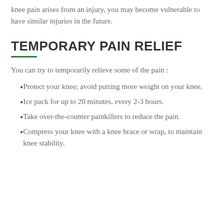knee pain arises from an injury, you may become vulnerable to have similar injuries in the future.
TEMPORARY PAIN RELIEF
You can try to temporarily relieve some of the pain :
Protect your knee; avoid putting more weight on your knee.
Ice pack for up to 20 minutes, every 2-3 hours.
Take over-the-counter painkillers to reduce the pain.
Compress your knee with a knee brace or wrap, to maintain knee stability.